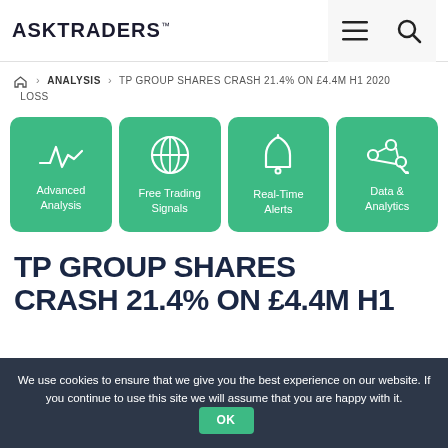ASKTRADERS
🏠 > ANALYSIS > TP GROUP SHARES CRASH 21.4% ON £4.4M H1 2020 LOSS
[Figure (infographic): Four green rounded cards: Advanced Analysis (waveform icon), Free Trading Signals (globe icon), Real-Time Alerts (bell icon), Data & Analytics (network/analytics icon)]
TP GROUP SHARES CRASH 21.4% ON £4.4M H1
We use cookies to ensure that we give you the best experience on our website. If you continue to use this site we will assume that you are happy with it. OK